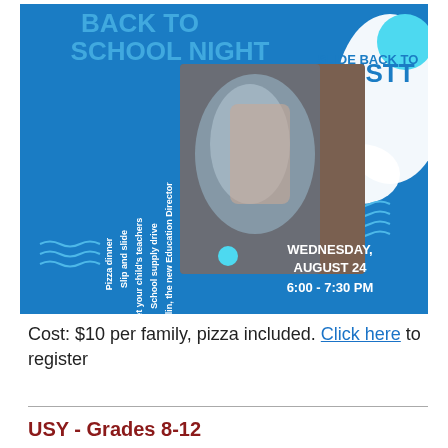[Figure (infographic): Back to School Night flyer with blue background showing a child on a water slide. Text reads 'BACK TO SCHOOL NIGHT', 'SLIDE BACK TO BESTT', event details: Pizza dinner, Slip and slide, Meet your child's teachers, School supply drive, Get to know Mark Kellin, the new Education Director. Date: WEDNESDAY, AUGUST 24, 6:00 - 7:30 PM]
Cost: $10 per family, pizza included. Click here to register
USY - Grades 8-12